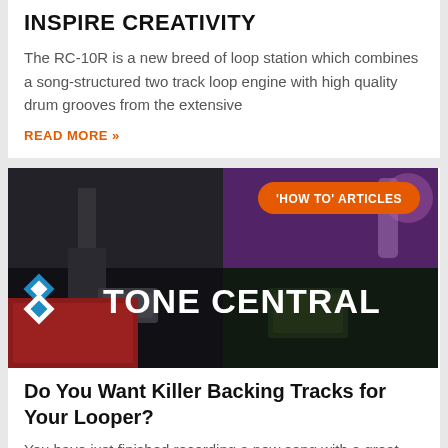INSPIRE CREATIVITY
The RC-10R is a new breed of loop station which combines a song-structured two track loop engine with high quality drum grooves from the extensive
READ MORE »
[Figure (screenshot): Tone Central promotional banner image with 'HOW TO' ARTICLES badge and Tone Central logo on dark background showing music equipment]
Do You Want Killer Backing Tracks for Your Looper?
You have just finished recording a new song with a great multi-synth backing track that you'd really love to